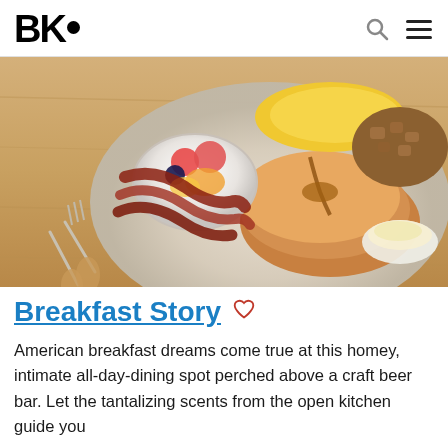BK●
[Figure (photo): A breakfast plate with pancakes drizzled with syrup, bacon strips, scrambled eggs, roasted potatoes, and a fruit bowl with berries. A fork and knife rest beside the plate, and a small dish of butter is visible. Photo taken from above at an angle on a wooden table.]
Breakfast Story
American breakfast dreams come true at this homey, intimate all-day-dining spot perched above a craft beer bar. Let the tantalizing scents from the open kitchen guide you